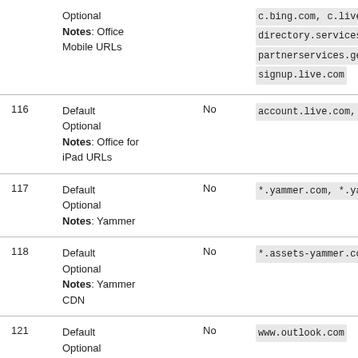| ID | Category/Notes | Required | URLs |
| --- | --- | --- | --- |
|  | Optional
Notes: Office Mobile URLs |  | c.bing.com, c.live.com, d.dc...
directory.services.live.com,
partnerservices.getmicrosof...
signup.live.com |
| 116 | Default
Optional
Notes: Office for iPad URLs | No | account.live.com, auth.gfx.... |
| 117 | Default
Optional
Notes: Yammer | No | *.yammer.com, *.yammeruserc... |
| 118 | Default
Optional
Notes: Yammer CDN | No | *.assets-yammer.com |
| 121 | Default
Optional
Notes: Planner: | No | www.outlook.com |